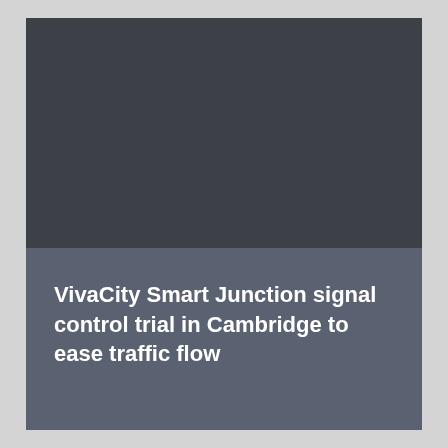[Figure (photo): Dark grey/charcoal rectangular area representing a photo or image, upper portion of a cover page.]
VivaCity Smart Junction signal control trial in Cambridge to ease traffic flow